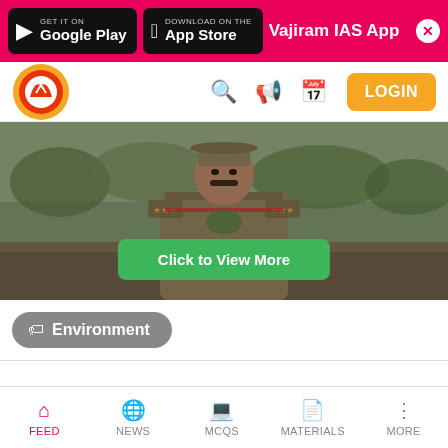[Figure (screenshot): Top app download banner with Google Play and App Store buttons, pink background, Vajiram IAS App label and close button]
[Figure (screenshot): Navigation bar with Vajiram & Ravi logo, search, megaphone, calendar icons, and orange LOGIN button]
[Figure (photo): Photo of a forest officer in khaki uniform with stars on shoulders, standing outdoors with green vegetation background. Green 'Click to View More' button overlay at bottom.]
Environment
FEED NEWS MCQS MATERIALS MORE